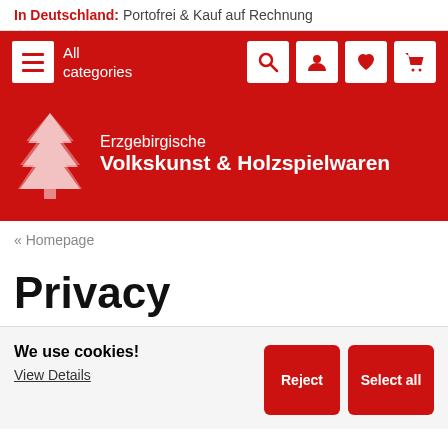In Deutschland: Portofrei & Kauf auf Rechnung
[Figure (screenshot): Navigation bar with hamburger menu icon and 'All categories' label on red background, with search, user, heart, and cart icons on the right]
[Figure (logo): Erzgebirgische Volkskunst & Holzspielwaren logo with white Christmas tree icon on red background]
« Homepage
Privacy
We use cookies!
View Details
Reject | Select all